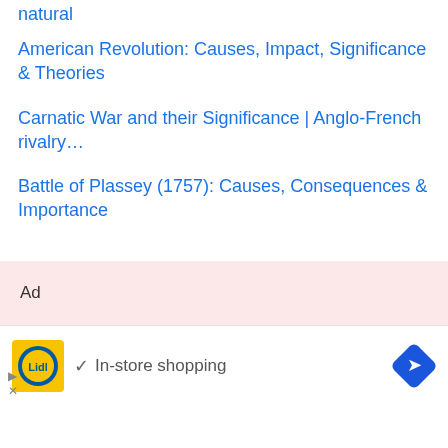natural
American Revolution: Causes, Impact, Significance & Theories
Carnatic War and their Significance | Anglo-French rivalry…
Battle of Plassey (1757): Causes, Consequences & Importance
Ad
[Figure (infographic): Lidl advertisement with logo, checkmark, and 'In-store shopping' text, with navigation icon]
▷ ×